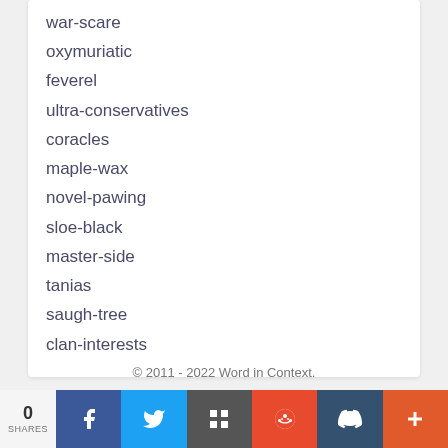war-scare
oxymuriatic
feverel
ultra-conservatives
coracles
maple-wax
novel-pawing
sloe-black
master-side
tanias
saugh-tree
clan-interests
© 2011 - 2022 Word in Context.
0 SHARES